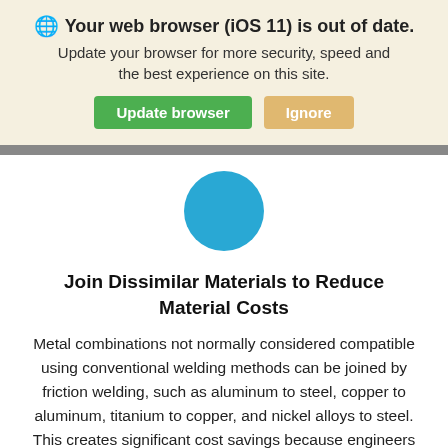[Figure (screenshot): Browser warning banner with globe icon saying 'Your web browser (iOS 11) is out of date. Update your browser for more security, speed and the best experience on this site.' with two buttons: 'Update browser' (green) and 'Ignore' (yellow/tan).]
[Figure (logo): A solid teal/cyan circle logo centered on the page, partially overlapping the gray separator bar.]
Join Dissimilar Materials to Reduce Material Costs
Metal combinations not normally considered compatible using conventional welding methods can be joined by friction welding, such as aluminum to steel, copper to aluminum, titanium to copper, and nickel alloys to steel. This creates significant cost savings because engineers can design bimetallic parts that use expensive